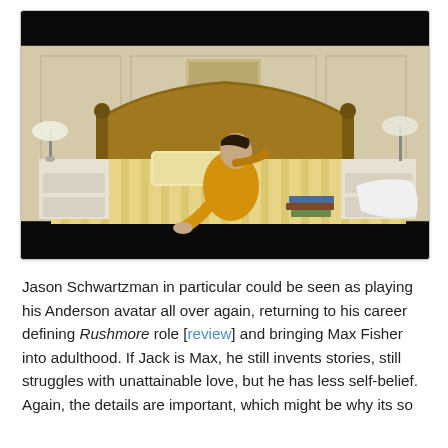[Figure (photo): A man in a yellow robe sits on a large bed with yellow striped bedding in a hotel room. Nightstands with lamps flank the bed. Books and papers are scattered on the bed. The image has black letterbox bars at top and bottom.]
Jason Schwartzman in particular could be seen as playing his Anderson avatar all over again, returning to his career defining Rushmore role [review] and bringing Max Fisher into adulthood. If Jack is Max, he still invents stories, still struggles with unattainable love, but he has less self-belief. Again, the details are important, which might be why its so